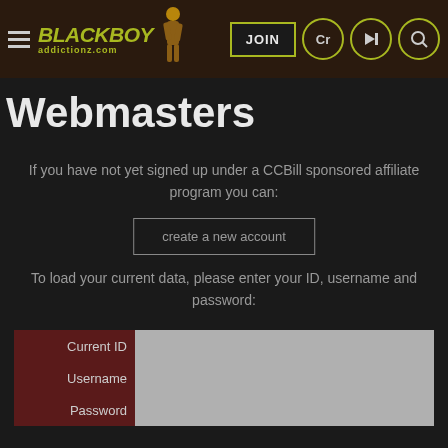[Figure (logo): BlackBoyAddictionz.com logo with stylized text and figure silhouette, and navigation buttons: JOIN, Cr, login arrow, search]
Webmasters
If you have not yet signed up under a CCBill sponsored affiliate program you can:
create a new account
To load your current data, please enter your ID, username and password:
| Current ID |  |
| Username |  |
| Password |  |